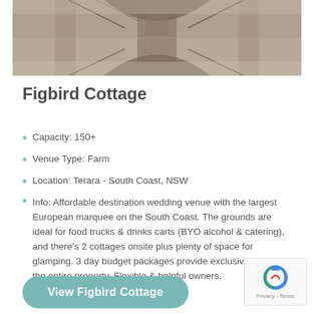[Figure (photo): Top photo showing a building or arch reflected symmetrically, with a warm earthy tone, trees and sky visible in the reflection.]
Figbird Cottage
Capacity: 150+
Venue Type: Farm
Location: Terara - South Coast, NSW
Info: Affordable destination wedding venue with the largest European marquee on the South Coast. The grounds are ideal for food trucks & drinks carts (BYO alcohol & catering), and there's 2 cottages onsite plus plenty of space for glamping. 3 day budget packages provide exclusive use of the entire property. Flexible & helpful owners.
View Figbird Cottage